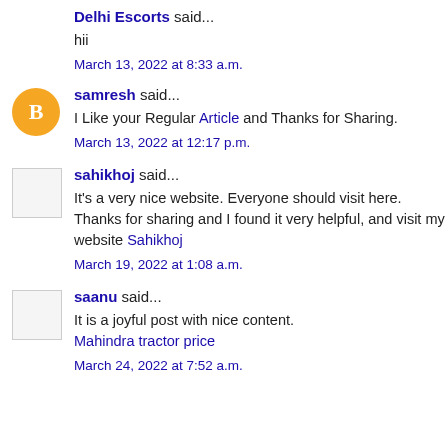Delhi Escorts said...
hii
March 13, 2022 at 8:33 a.m.
samresh said...
I Like your Regular Article and Thanks for Sharing.
March 13, 2022 at 12:17 p.m.
sahikhoj said...
It's a very nice website. Everyone should visit here. Thanks for sharing and I found it very helpful, and visit my website Sahikhoj
March 19, 2022 at 1:08 a.m.
saanu said...
It is a joyful post with nice content.
Mahindra tractor price
March 24, 2022 at 7:52 a.m.